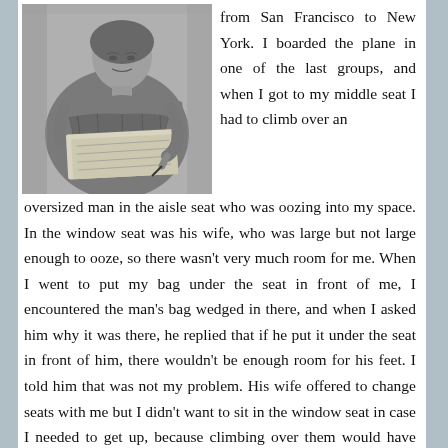[Figure (photo): Black and white photograph of an elderly woman in traditional or ornate clothing, seated and appearing to write or read from papers or books on her lap.]
from San Francisco to New York. I boarded the plane in one of the last groups, and when I got to my middle seat I had to climb over an oversized man in the aisle seat who was oozing into my space. In the window seat was his wife, who was large but not large enough to ooze, so there wasn't very much room for me. When I went to put my bag under the seat in front of me, I encountered the man's bag wedged in there, and when I asked him why it was there, he replied that if he put it under the seat in front of him, there wouldn't be enough room for his feet. I told him that was not my problem. His wife offered to change seats with me but I didn't want to sit in the window seat in case I needed to get up, because climbing over them would have been an athletic feat I'm not sure I could have